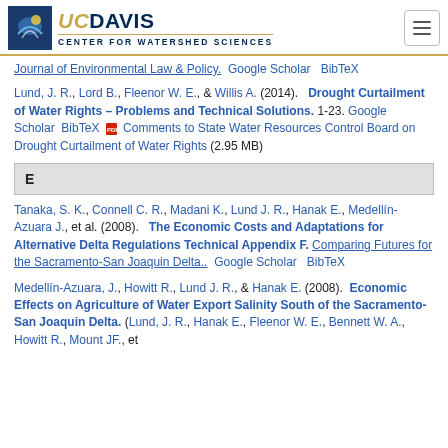UC Davis Center for Watershed Sciences
Journal of Environmental Law & Policy.  Google Scholar  BibTeX
Lund, J. R., Lord B., Fleenor W. E., & Willis A. (2014).  Drought Curtailment of Water Rights – Problems and Technical Solutions. 1-23. Google Scholar  BibTeX  Comments to State Water Resources Control Board on Drought Curtailment of Water Rights (2.95 MB)
E
Tanaka, S. K., Connell C. R., Madani K., Lund J. R., Hanak E., Medellín-Azuara J., et al. (2008).  The Economic Costs and Adaptations for Alternative Delta Regulations Technical Appendix F. Comparing Futures for the Sacramento-San Joaquin Delta..  Google Scholar  BibTeX
Medellín-Azuara, J., Howitt R., Lund J. R., & Hanak E. (2008).  Economic Effects on Agriculture of Water Export Salinity South of the Sacramento-San Joaquin Delta. (Lund, J. R., Hanak E., Fleenor W. E., Bennett W. A., Howitt R., Mount JF., et